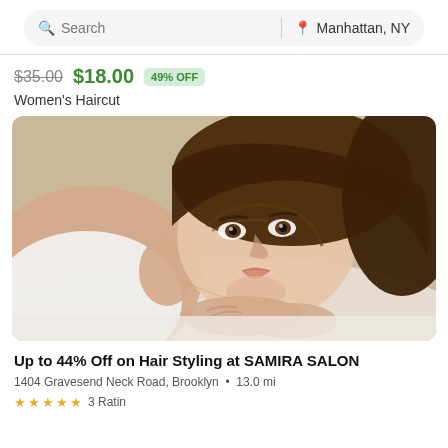[Figure (screenshot): Search bar with 'Search' placeholder on the left and 'Manhattan, NY' location on the right, on a light gray pill-shaped background]
$35.00  $18.00  49% OFF
Women's Haircut
[Figure (photo): A young woman with brown hair lying down, resting her head on her hands, wearing a white top, looking at the camera]
Up to 44% Off on Hair Styling at SAMIRA SALON
1404 Gravesend Neck Road, Brooklyn • 13.0 mi
★★★★★ 3 Ratings